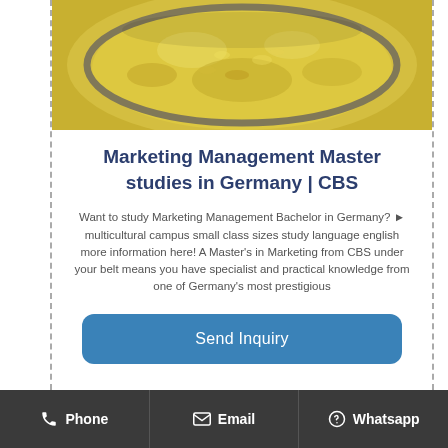[Figure (photo): Yellow powder (likely turmeric or similar spice) in a glass bowl, viewed from above]
Marketing Management Master studies in Germany | CBS
Want to study Marketing Management Bachelor in Germany? ▶ multicultural campus small class sizes study language english more information here! A Master's in Marketing from CBS under your belt means you have specialist and practical knowledge from one of Germany's most prestigious
Send Inquiry
Phone  Email  Whatsapp